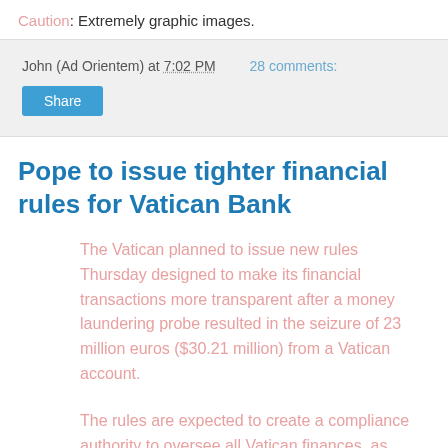Caution: Extremely graphic images.
John (Ad Orientem) at 7:02 PM   28 comments:
Share
Pope to issue tighter financial rules for Vatican Bank
The Vatican planned to issue new rules Thursday designed to make its financial transactions more transparent after a money laundering probe resulted in the seizure of 23 million euros ($30.21 million) from a Vatican account.
The rules are expected to create a compliance authority to oversee all Vatican finances, as required by EU and other international organizations involved in the fight against money